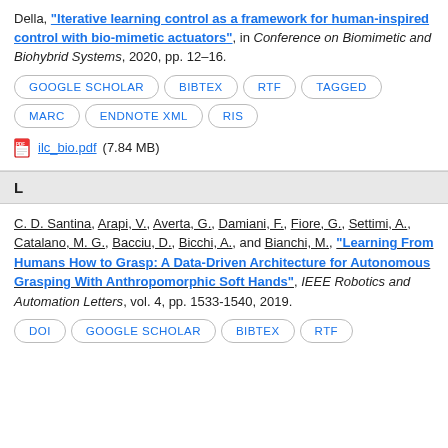Della, "Iterative learning control as a framework for human-inspired control with bio-mimetic actuators", in Conference on Biomimetic and Biohybrid Systems, 2020, pp. 12–16.
GOOGLE SCHOLAR
BIBTEX
RTF
TAGGED
MARC
ENDNOTE XML
RIS
ilc_bio.pdf (7.84 MB)
L
C. D. Santina, Arapi, V., Averta, G., Damiani, F., Fiore, G., Settimi, A., Catalano, M. G., Bacciu, D., Bicchi, A., and Bianchi, M., "Learning From Humans How to Grasp: A Data-Driven Architecture for Autonomous Grasping With Anthropomorphic Soft Hands", IEEE Robotics and Automation Letters, vol. 4, pp. 1533-1540, 2019.
DOI
GOOGLE SCHOLAR
BIBTEX
RTF